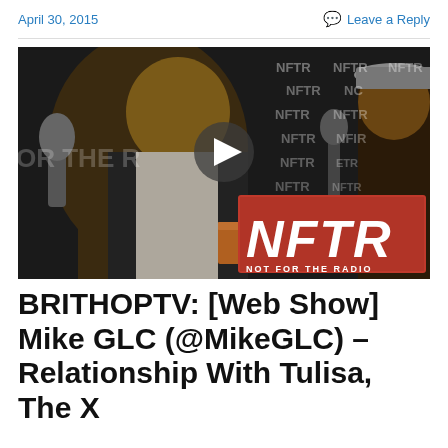April 30, 2015    Leave a Reply
[Figure (screenshot): Video thumbnail showing two people at a radio studio with NFTR (Not For The Radio) branding. A play button is visible in the center. The NFTR logo in red and white is in the bottom right corner.]
BRITHOPTV: [Web Show] Mike GLC (@MikeGLC) – Relationship With Tulisa, The X